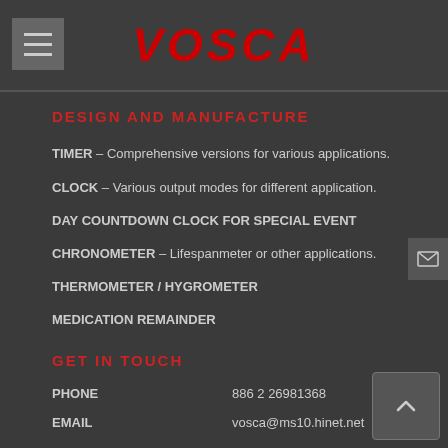VOSCA
DESIGN AND MANUFACTURE
TIMER – Comprehensive versions for various applications.
CLOCK – Various output modes for different application.
DAY COUNTDOWN CLOCK FOR SPECIAL EVENT
CHRONOMETER – Lifespanmeter or other applications.
THERMOMETER / HYGROMETER
MEDICATION REMAINDER
GET IN TOUCH
PHONE   886 2 26981368
EMAIL   vosca@ms10.hinet.net